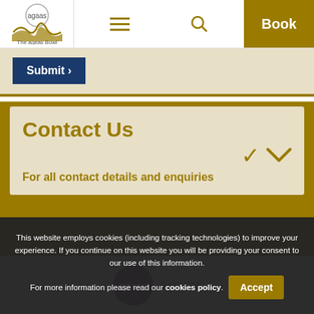[Figure (logo): The ageas Bowl logo with circular ageas text and stylized bowl/wave shape]
Navigation bar with hamburger menu, search icon, and Book button
Submit >
Contact Us
For all contact details and enquiries
[Figure (logo): Ageas purple circle logo with 'ageas easy as' text]
This website employs cookies (including tracking technologies) to improve your experience. If you continue on this website you will be providing your consent to our use of this information. For more information please read our cookies policy.